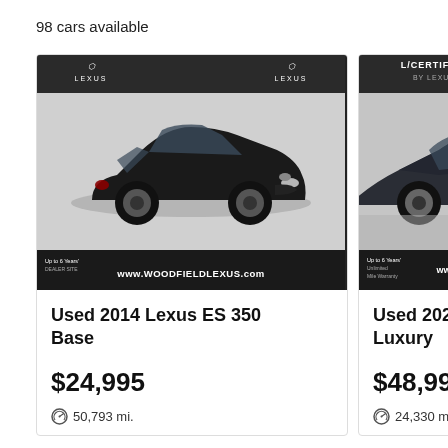98 cars available
[Figure (photo): Black 2014 Lexus ES 350 sedan on a turntable in a dealership, with Woodfield Lexus branding and watermark]
Used 2014 Lexus ES 350 Base
$24,995
50,793 mi.
[Figure (photo): Dark colored 2020 Lexus on a turntable in a dealership, L/Certified by Lexus badge visible, Woodfield Lexus branding]
Used 2020 Lexu Luxury
$48,995
24,330 mi.